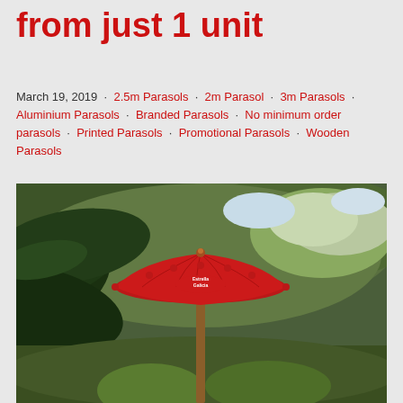from just 1 unit
March 19, 2019 · 2.5m Parasols · 2m Parasol · 3m Parasols · Aluminium Parasols · Branded Parasols · No minimum order parasols · Printed Parasols · Promotional Parasols · Wooden Parasols
[Figure (photo): A red branded parasol (Estrella Galicia) standing in an outdoor garden setting with lush green foliage in the background and large leaves in the foreground.]